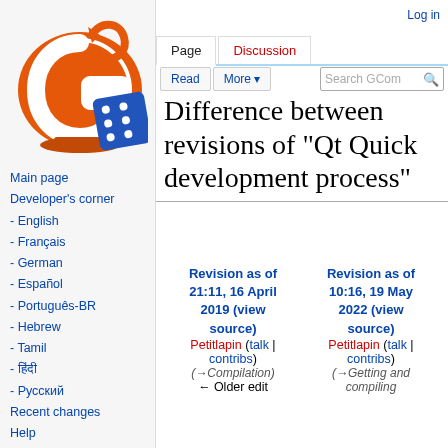[Figure (logo): GCompris orange globe with blue dice logo]
Main page
Developer's corner
- English
- Français
- German
- Español
- Português-BR
- Hebrew
- Tamil
- हिंदी
- Русский
Recent changes
Help
Log in
Difference between revisions of "Qt Quick development process"
| Revision as of 21:11, 16 April 2019 (view source) | Revision as of 10:16, 19 May 2022 (view source) |
| --- | --- |
| Petitlapin (talk | contribs) | Petitlapin (talk | contribs) |
| (→Compilation) | (→Getting and compiling |
| ← Older edit |  |